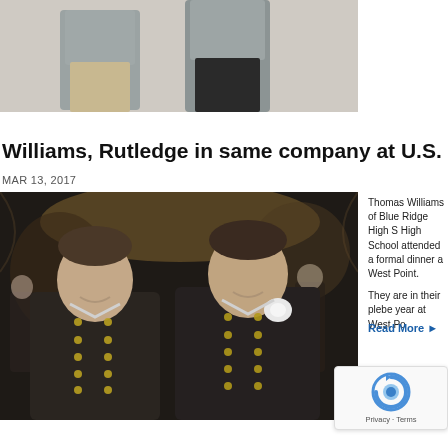[Figure (photo): Two people standing against a light-colored brick wall, wearing casual clothing (gray sweatshirts and khaki pants). The image is cropped showing only the lower torso and legs area at the top of the page.]
Williams, Rutledge in same company at U.S. [Military Academy / West Point]
MAR 13, 2017
[Figure (photo): Two young men in U.S. Military Academy (West Point) cadet dress uniforms — dark gray jackets with gold buttons — smiling at the camera. They appear to be at a formal dinner event inside a grand dining hall with arched stone architecture visible in the background.]
Thomas Williams of Blue Ridge High School and Rutledge of [another] High School attended a formal dinner at West Point.
They are in their plebe year at West Point.
Read More ▶
[Figure (other): Google reCAPTCHA badge showing the reCAPTCHA logo (circular arrow icon in blue and gray) with 'Privacy · Terms' text below.]